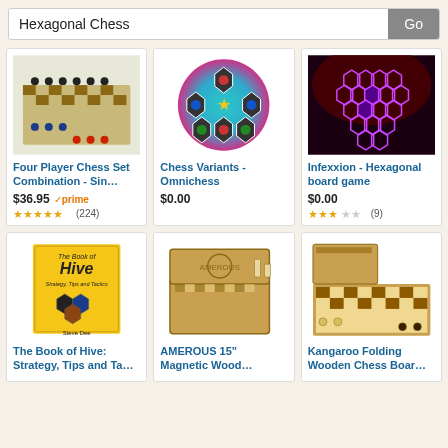Hexagonal Chess [search bar with Go button]
[Figure (photo): Four Player Chess Set - colorful chess board with red, blue, green pieces]
Four Player Chess Set Combination - Sin…
$36.95 ✓prime
★★★★★ (224)
[Figure (photo): Chess Variants Omnichess - circular board with hexagonal chess pieces]
Chess Variants - Omnichess
$0.00
[Figure (photo): Infexxion - Hexagonal board game with purple glowing hexagonal board]
Infexxion - Hexagonal board game
$0.00
★★★☆☆ (9)
[Figure (photo): The Book of Hive: Strategy, Tips and Tactics by Steve Dee - yellow book cover]
The Book of Hive: Strategy, Tips and Ta…
[Figure (photo): AMEROUS 15 inch Magnetic Wood chess board set]
AMEROUS 15" Magnetic Wood…
[Figure (photo): Kangaroo Folding Wooden Chess Board]
Kangaroo Folding Wooden Chess Boar…